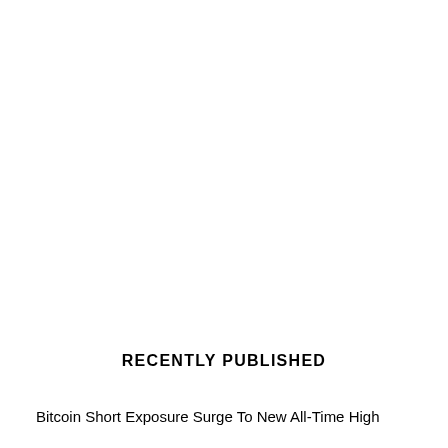RECENTLY PUBLISHED
Bitcoin Short Exposure Surge To New All-Time High